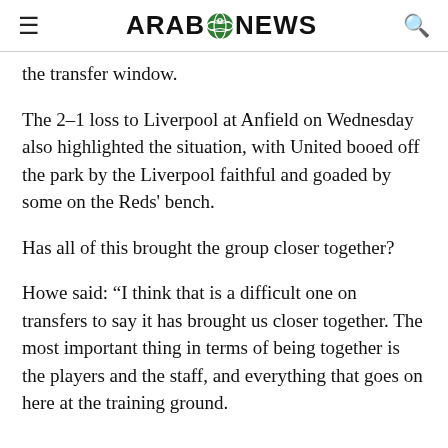ARAB NEWS
the transfer window.
The 2-1 loss to Liverpool at Anfield on Wednesday also highlighted the situation, with United booed off the park by the Liverpool faithful and goaded by some on the Reds’ bench.
Has all of this brought the group closer together?
Howe said: “I think that is a difficult one on transfers to say it has brought us closer together. The most important thing in terms of being together is the players and the staff, and everything that goes on here at the training ground.